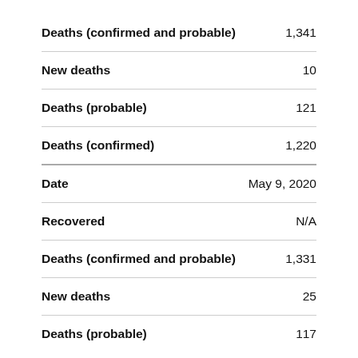| Category | Value |
| --- | --- |
| Deaths (confirmed and probable) | 1,341 |
| New deaths | 10 |
| Deaths (probable) | 121 |
| Deaths (confirmed) | 1,220 |
| Date | May 9, 2020 |
| Recovered | N/A |
| Deaths (confirmed and probable) | 1,331 |
| New deaths | 25 |
| Deaths (probable) | 117 |